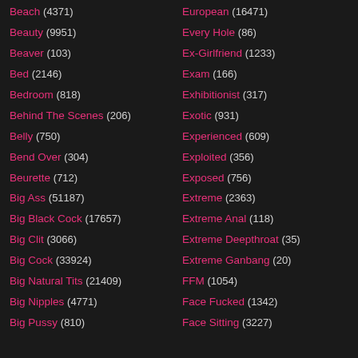Beach (4371)
Beauty (9951)
Beaver (103)
Bed (2146)
Bedroom (818)
Behind The Scenes (206)
Belly (750)
Bend Over (304)
Beurette (712)
Big Ass (51187)
Big Black Cock (17657)
Big Clit (3066)
Big Cock (33924)
Big Natural Tits (21409)
Big Nipples (4771)
Big Pussy (810)
European (16471)
Every Hole (86)
Ex-Girlfriend (1233)
Exam (166)
Exhibitionist (317)
Exotic (931)
Experienced (609)
Exploited (356)
Exposed (756)
Extreme (2363)
Extreme Anal (118)
Extreme Deepthroat (35)
Extreme Ganbang (20)
FFM (1054)
Face Fucked (1342)
Face Sitting (3227)